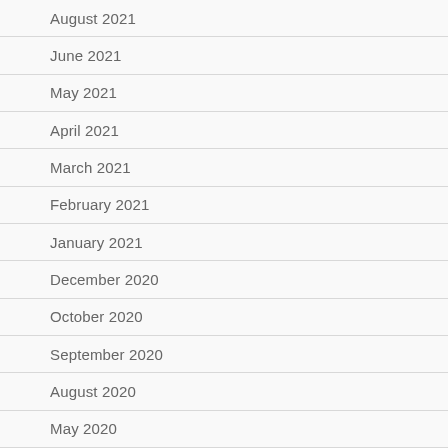August 2021
June 2021
May 2021
April 2021
March 2021
February 2021
January 2021
December 2020
October 2020
September 2020
August 2020
May 2020